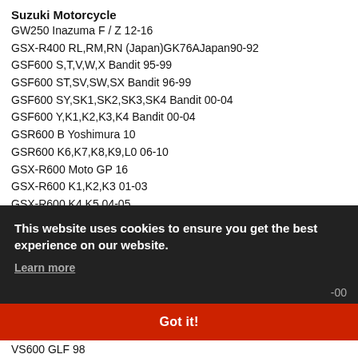Suzuki Motorcycle
GW250 Inazuma F / Z 12-16
GSX-R400 RL,RM,RN (Japan)GK76AJapan90-92
GSF600 S,T,V,W,X Bandit 95-99
GSF600 ST,SV,SW,SX Bandit 96-99
GSF600 SY,SK1,SK2,SK3,SK4 Bandit 00-04
GSF600 Y,K1,K2,K3,K4 Bandit 00-04
GSR600 B Yoshimura 10
GSR600 K6,K7,K8,K9,L0 06-10
GSX-R600 Moto GP 16
GSX-R600 K1,K2,K3 01-03
GSX-R600 K4,K5 04-05
This website uses cookies to ensure you get the best experience on our website.
Learn more
-00
Got it!
VS600 GLF 98